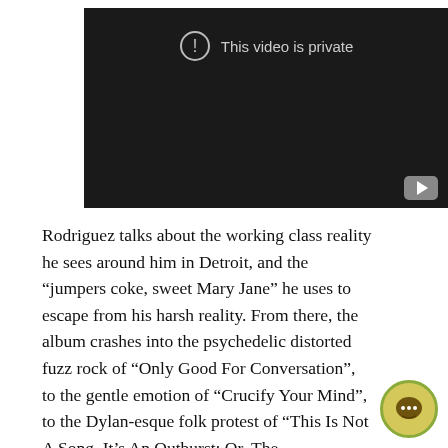[Figure (screenshot): YouTube embedded video player showing 'This video is private' message on a dark background, with a YouTube play button icon in the bottom right corner.]
Rodriguez talks about the working class reality he sees around him in Detroit, and the “jumpers coke, sweet Mary Jane” he uses to escape from his harsh reality. From there, the album crashes into the psychedelic distorted fuzz rock of “Only Good For Conversation”, to the gentle emotion of “Crucify Your Mind”, to the Dylan-esque folk protest of “This Is Not A Song, It’s An Outburst: Or, The Establishment Blues”